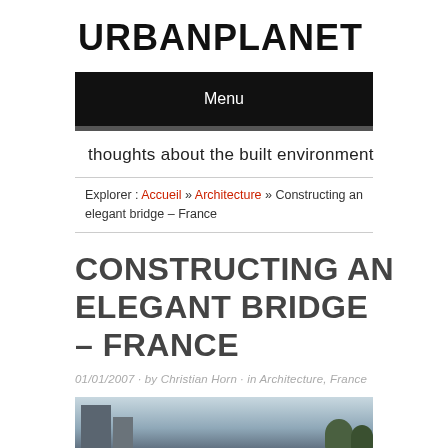URBANPLANET
Menu
thoughts about the built environment
Explorer : Accueil » Architecture » Constructing an elegant bridge – France
CONSTRUCTING AN ELEGANT BRIDGE – FRANCE
01/01/2007 · by Christian Horn · in Architecture, France
[Figure (photo): Partial photo of a building and trees, bottom of the page]